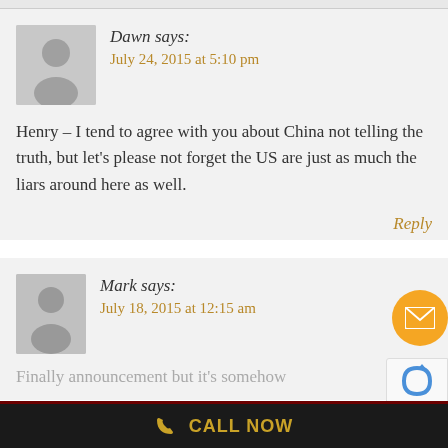Dawn says:
July 24, 2015 at 5:10 pm
Henry – I tend to agree with you about China not telling the truth, but let's please not forget the US are just as much the liars around here as well.
Reply
Mark says:
July 18, 2015 at 12:15 am
Finally announcement but it's somehow
CALL NOW